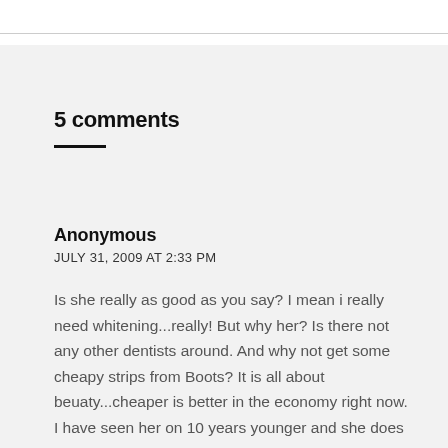5 comments
Anonymous
JULY 31, 2009 AT 2:33 PM
Is she really as good as you say? I mean i really need whitening...really! But why her? Is there not any other dentists around. And why not get some cheapy strips from Boots? It is all about beuaty...cheaper is better in the economy right now. I have seen her on 10 years younger and she does